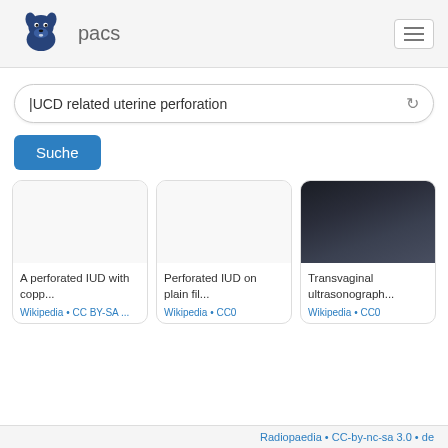pacs
IUCD related uterine perforation
Suche
A perforated IUD with copp...
Perforated IUD on plain fil...
Transvaginal ultrasonograph...
Radiopaedia • CC-by-nc-sa 3.0 • de